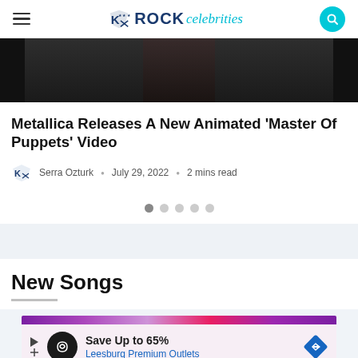Rock celebrities — navigation bar with hamburger menu, logo, and search button
[Figure (photo): Dark-toned hero image showing a person in a black outfit, partially visible from the torso]
Metallica Releases A New Animated 'Master Of Puppets' Video
Serra Ozturk · July 29, 2022 · 2 mins read
New Songs
[Figure (screenshot): Advertisement banner: Save Up to 65% Leesburg Premium Outlets]